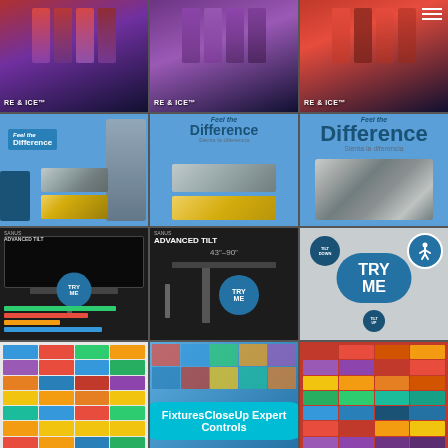[Figure (photo): 3x4 grid collage of retail store product photos. Row 1: Three images of 'Fire & Ice' product displays with colorful lighting (red/purple). Row 2: Three close-up images of carpet sample display boards with 'Feel the Difference / Sienta la diferencia' branding in blue, showing gray and gold carpet swatches. Row 3: Three images of TV wall mount displays (Sanus Advanced Tilt) with 'TRY ME' call-to-action buttons in blue circles; rightmost shows large TRY ME with tilt indicators and accessibility icon. Row 4: Left shows pegboard with colorful packaged hardware items and yellow products; center and right are overlaid by a cyan 'FixturesCloseUp Expert Controls' pill-shaped label.]
FixturesCloseUp Expert Controls